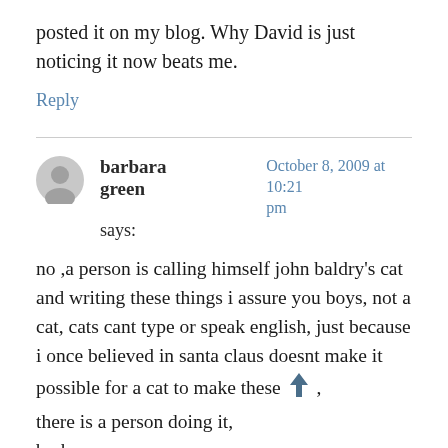posted it on my blog. Why David is just noticing it now beats me.
Reply
barbara green says:  October 8, 2009 at 10:21 pm
no ,a person is calling himself john baldry's cat and writing these things i assure you boys, not a cat, cats cant type or speak english, just because i once believed in santa claus doesnt make it possible for a cat to make these [posts], there is a person doing it,
barbara